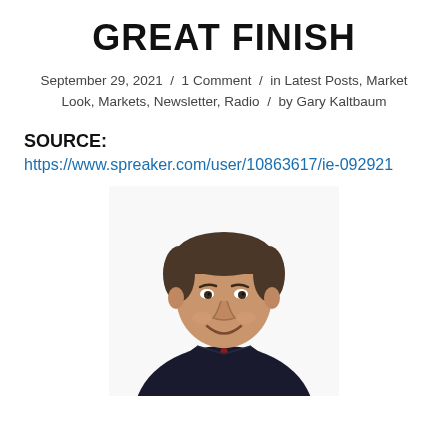GREAT FINISH
September 29, 2021 / 1 Comment / in Latest Posts, Market Look, Markets, Newsletter, Radio / by Gary Kaltbaum
SOURCE:
https://www.spreaker.com/user/10863617/ie-092921
[Figure (photo): Professional headshot of Gary Kaltbaum, a man in a dark pinstripe suit with a red tie, smiling, white background.]